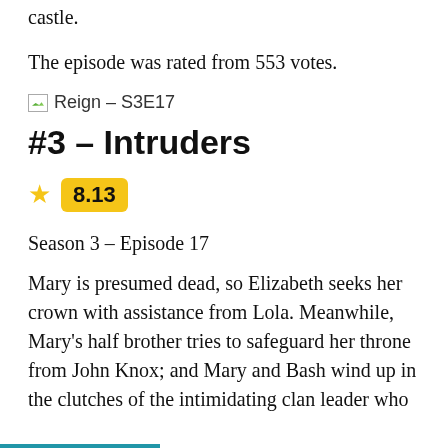castle.
The episode was rated from 553 votes.
Reign - S3E17
#3 – Intruders
8.13
Season 3 – Episode 17
Mary is presumed dead, so Elizabeth seeks her crown with assistance from Lola. Meanwhile, Mary's half brother tries to safeguard her throne from John Knox; and Mary and Bash wind up in the clutches of the intimidating clan leader who